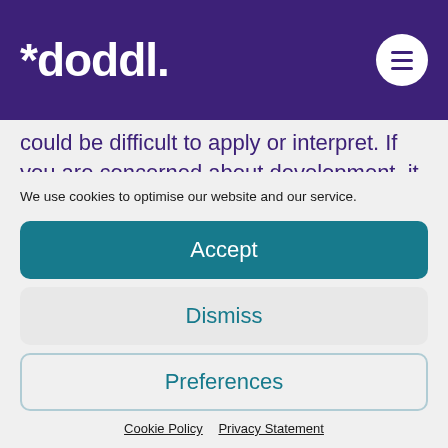*doddl.
could be difficult to apply or interpret. If you are concerned about development, it is completely valid to communicate your feelings to your paediatrician, health visitor or GP. Often,
We use cookies to optimise our website and our service.
Accept
Dismiss
Preferences
Cookie Policy   Privacy Statement